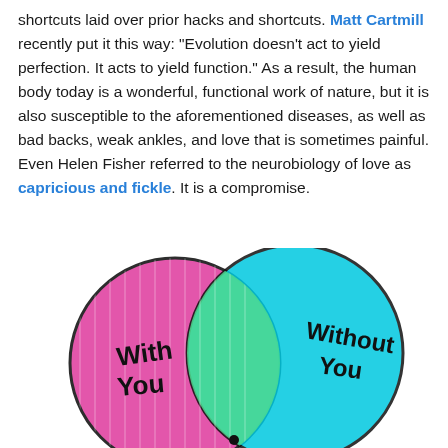shortcuts laid over prior hacks and shortcuts. Matt Cartmill recently put it this way: “Evolution doesn’t act to yield perfection. It acts to yield function.” As a result, the human body today is a wonderful, functional work of nature, but it is also susceptible to the aforementioned diseases, as well as bad backs, weak ankles, and love that is sometimes painful. Even Helen Fisher referred to the neurobiology of love as capricious and fickle. It is a compromise.
[Figure (illustration): A hand-drawn Venn diagram with two overlapping circles. The left circle is pink/magenta and labeled 'With You'. The right circle is cyan/light blue and labeled 'Without You'. The overlapping area in the center is light green.]